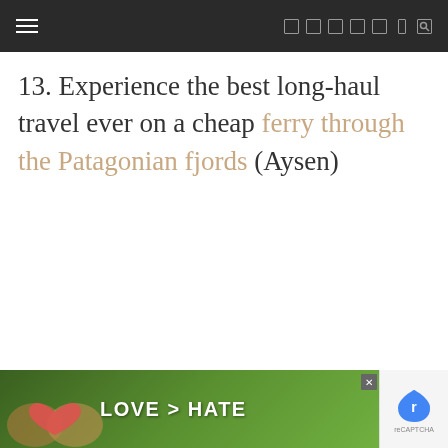Navigation bar with hamburger menu and social/search icons
13. Experience the best long-haul travel ever on a cheap ferry through the Patagonian fjords (Aysen)
[Figure (photo): Bottom advertisement bar with 'LOVE > HATE' text over a nature background with hands forming a heart shape, with a close button and reCAPTCHA widget]